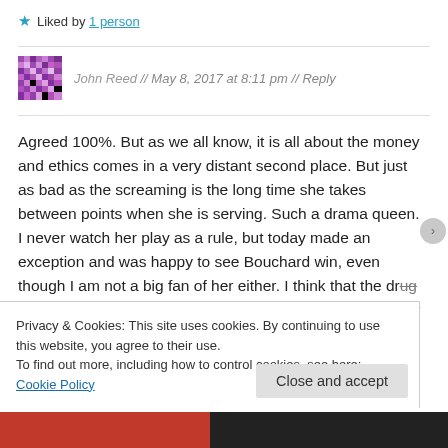★ Liked by 1 person
John Reed // May 8, 2017 at 8:11 pm // Reply
Agreed 100%. But as we all know, it is all about the money and ethics comes in a very distant second place. But just as bad as the screaming is the long time she takes between points when she is serving. Such a drama queen. I never watch her play as a rule, but today made an exception and was happy to see Bouchard win, even though I am not a big fan of her either. I think that the drug Sharanova was found guilty
Privacy & Cookies: This site uses cookies. By continuing to use this website, you agree to their use.
To find out more, including how to control cookies, see here: Cookie Policy
Close and accept